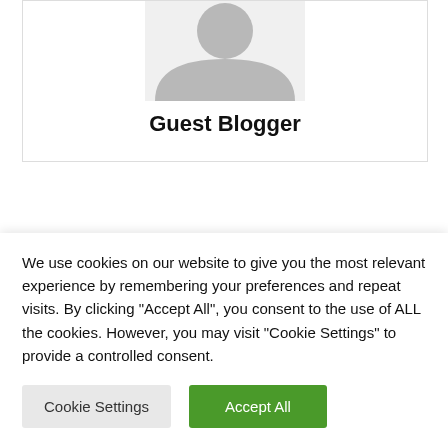[Figure (illustration): Generic user avatar icon (arch/silhouette shape in gray)]
Guest Blogger
RELATED ARTICLES
[Figure (photo): Black and white photo of a group of people standing together]
Danish AI-driven cybersecurity platform secures €2.5M seed
We use cookies on our website to give you the most relevant experience by remembering your preferences and repeat visits. By clicking "Accept All", you consent to the use of ALL the cookies. However, you may visit "Cookie Settings" to provide a controlled consent.